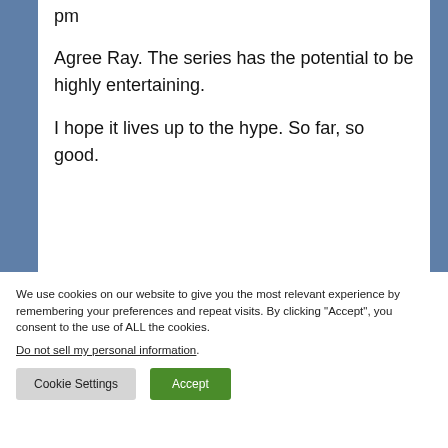pm
Agree Ray. The series has the potential to be highly entertaining.
I hope it lives up to the hype. So far, so good.
We use cookies on our website to give you the most relevant experience by remembering your preferences and repeat visits. By clicking “Accept”, you consent to the use of ALL the cookies.
Do not sell my personal information.